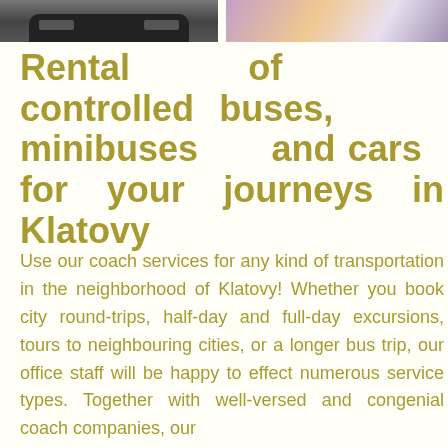[Figure (photo): Two cropped photos at top: left shows a dark car, right shows people in colorful clothing]
Rental of controlled buses, minibuses and cars for your journeys in Klatovy
Use our coach services for any kind of transportation in the neighborhood of Klatovy! Whether you book city round-trips, half-day and full-day excursions, tours to neighbouring cities, or a longer bus trip, our office staff will be happy to effect numerous service types. Together with well-versed and congenial coach companies, our